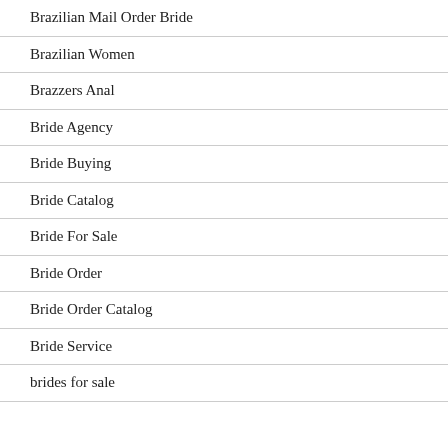Brazilian Mail Order Bride
Brazilian Women
Brazzers Anal
Bride Agency
Bride Buying
Bride Catalog
Bride For Sale
Bride Order
Bride Order Catalog
Bride Service
brides for sale